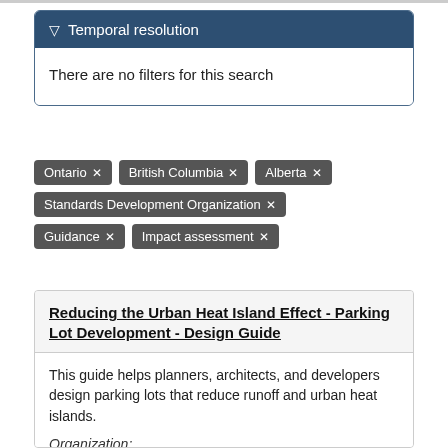Temporal resolution
There are no filters for this search
Ontario ✕
British Columbia ✕
Alberta ✕
Standards Development Organization ✕
Guidance ✕
Impact assessment ✕
Reducing the Urban Heat Island Effect - Parking Lot Development - Design Guide
This guide helps planners, architects, and developers design parking lots that reduce runoff and urban heat islands.
Organization:
Bureau de normalisation du Québec